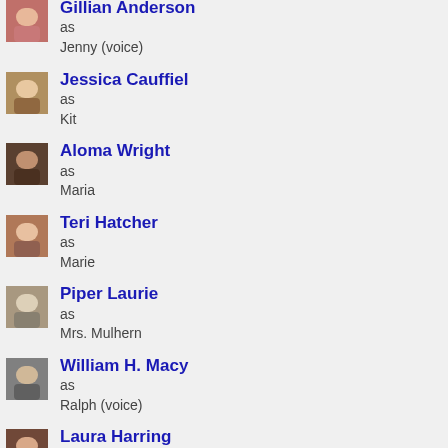Gillian Anderson as Jenny (voice)
Jessica Cauffiel as Kit
Aloma Wright as Maria
Teri Hatcher as Marie
Piper Laurie as Mrs. Mulhern
William H. Macy as Ralph (voice)
Laura Harring as Rebecca Wendell